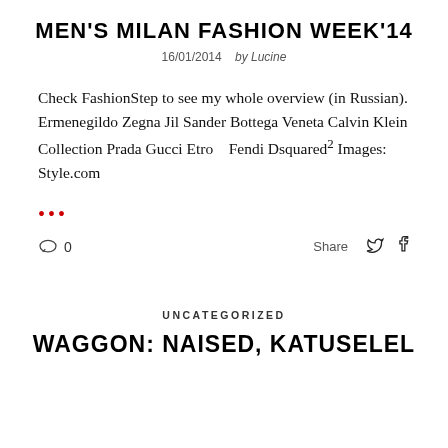MEN'S MILAN FASHION WEEK'14
16/01/2014   by Lucine
Check FashionStep to see my whole overview (in Russian). Ermenegildo Zegna Jil Sander Bottega Veneta Calvin Klein Collection Prada Gucci Etro   Fendi Dsquared² Images: Style.com
•••
0   Share
UNCATEGORIZED
WAGGON: NAISED, KATUSELEL